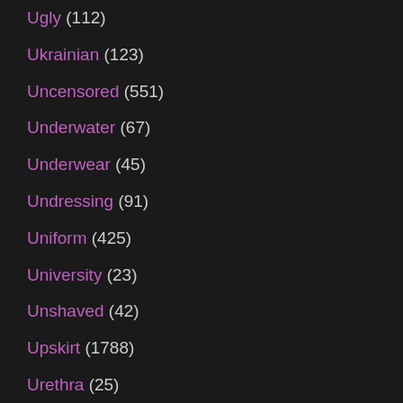Ugly (112)
Ukrainian (123)
Uncensored (551)
Underwater (67)
Underwear (45)
Undressing (91)
Uniform (425)
University (23)
Unshaved (42)
Upskirt (1788)
Urethra (25)
VIP (68)
Vacation (100)
Vacuum (34)
Vampire (27)
Van (123)